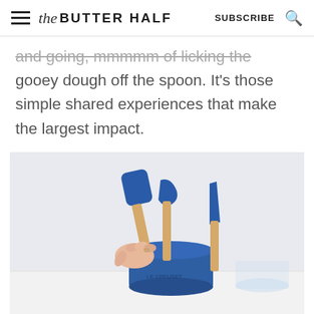the BUTTER HALF | SUBSCRIBE
and going, mmmmm of licking the gooey dough off the spoon. It's those simple shared experiences that make the largest impact.
[Figure (photo): A hand holding blue silicone kitchen spatulas and utensils with wooden handles in a blue ceramic utensil crock, on a white background.]